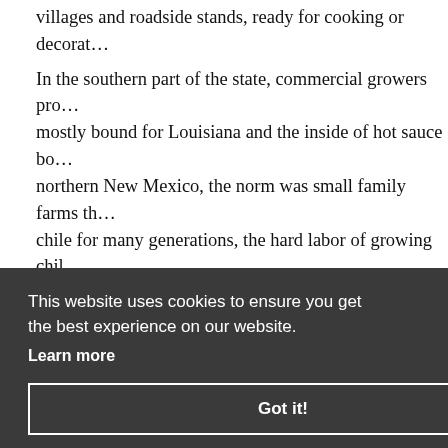villages and roadside stands, ready for cooking or decora...
In the southern part of the state, commercial growers pro... mostly bound for Louisiana and the inside of hot sauce bo... northern New Mexico, the norm was small family farms th... chile for many generations, the hard labor of growing chil... of the culture, the rhythm of daily life and an ingredient in... meal. These small family farms were largely owned by folk... there, many direct descendants of Spanish colonialists wit... ...d passed ...ts beatin, ...ey labor ...hnate my ...great sou ...ed in Car ...If you pl...
This website uses cookies to ensure you get the best experience on our website. Learn more Got it!